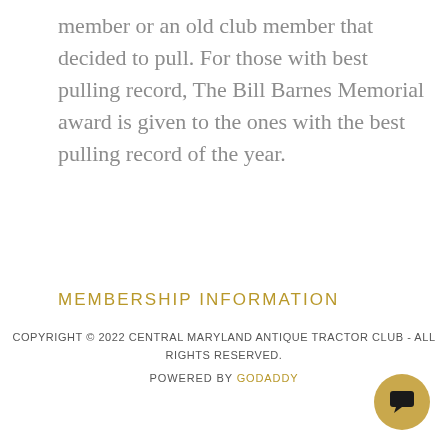member or an old club member that decided to pull. For those with best pulling record, The Bill Barnes Memorial award is given to the ones with the best pulling record of the year.
MEMBERSHIP INFORMATION
COPYRIGHT © 2022 CENTRAL MARYLAND ANTIQUE TRACTOR CLUB - ALL RIGHTS RESERVED.
POWERED BY GODADDY